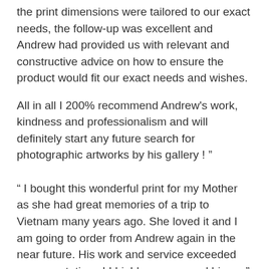the print dimensions were tailored to our exact needs, the follow-up was excellent and Andrew had provided us with relevant and constructive advice on how to ensure the product would fit our exact needs and wishes.
All in all I 200% recommend Andrew's work, kindness and professionalism and will definitely start any future search for photographic artworks by his gallery ! ”
“ I bought this wonderful print for my Mother as she had great memories of a trip to Vietnam many years ago. She loved it and I am going to order from Andrew again in the near future. His work and service exceeded my expectations ! I highly recommend him.... ”